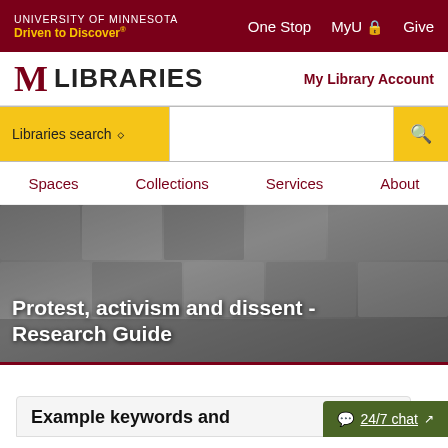University of Minnesota Driven to Discover® | One Stop  MyU  Give
Libraries | My Library Account
[Figure (screenshot): Libraries search dropdown with search input field and search button]
Spaces  Collections  Services  About
[Figure (photo): Grayscale hero banner image with metallic/reflective textured background displaying title text]
Protest, activism and dissent - Research Guide
Example keywords and
24/7 chat